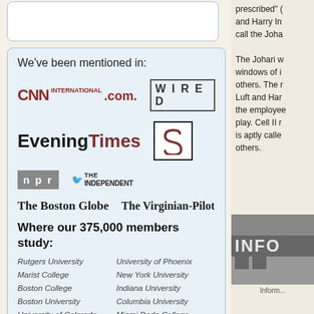We've been mentioned in:
[Figure (logo): CNN International .com logo]
[Figure (logo): WIRED logo]
[Figure (logo): Evening Times logo]
[Figure (logo): S logo box]
[Figure (logo): NPR logo]
[Figure (logo): The Independent logo]
[Figure (logo): The Boston Globe logo]
[Figure (logo): The Virginian-Pilot logo]
Where our 375,000 members study:
Rutgers University
University of Phoenix
Marist College
New York University
Boston College
Indiana University
Boston University
Columbia University
University of Colorado
Miami Dade College
prescribed" (...
and Harry In...
call the Joha...
The Johari w... windows of i... others. The r... Luft and Har... the employee... play. Cell II r... is aptly calle... others.
Inform...